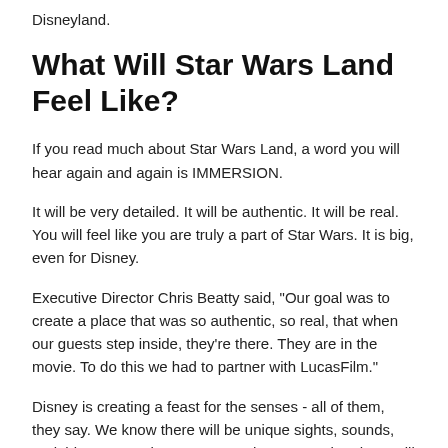Disneyland.
What Will Star Wars Land Feel Like?
If you read much about Star Wars Land, a word you will hear again and again is IMMERSION.
It will be very detailed. It will be authentic. It will be real. You will feel like you are truly a part of Star Wars. It is big, even for Disney.
Executive Director Chris Beatty said, "Our goal was to create a place that was so authentic, so real, that when our guests step inside, they're there. They are in the movie. To do this we had to partner with LucasFilm."
Disney is creating a feast for the senses - all of them, they say. We know there will be unique sights, sounds, and things to touch. Our sources have seen that there will b